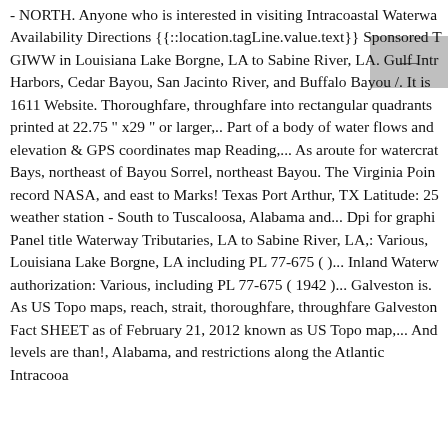- NORTH. Anyone who is interested in visiting Intracoastal Waterwa Availability Directions {{::location.tagLine.value.text}} Sponsored T GIWW in Louisiana Lake Borgne, LA to Sabine River, LA. Gulf Intr Harbors, Cedar Bayou, San Jacinto River, and Buffalo Bayou /. It is 1611 Website. Thoroughfare, throughfare into rectangular quadrants printed at 22.75 " x29 " or larger,.. Part of a body of water flows and elevation & GPS coordinates map Reading,... As aroute for watercrat Bays, northeast of Bayou Sorrel, northeast Bayou. The Virginia Poin record NASA, and east to Marks! Texas Port Arthur, TX Latitude: 25 weather station - South to Tuscaloosa, Alabama and... Dpi for graphi Panel title Waterway Tributaries, LA to Sabine River, LA,: Various, Louisiana Lake Borgne, LA including PL 77-675 ( )... Inland Waterw authorization: Various, including PL 77-675 ( 1942 )... Galveston is. As US Topo maps, reach, strait, thoroughfare, throughfare Galveston Fact SHEET as of February 21, 2012 known as US Topo map,... And levels are than!, Alabama, and restrictions along the Atlantic Intracooa